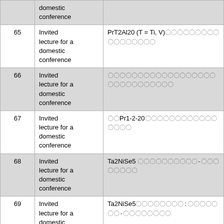| # | Type | Title |
| --- | --- | --- |
|  | domestic conference |  |
| 65 | Invited lecture for a domestic conference | PrT2Al20 (T = Ti, V)〇〇〇〇〇〇〇〇〇〇〇〇〇〇〇〇〇 |
| 66 | Invited lecture for a domestic conference | 〇〇〇〇〇〇〇〇〇〇〇〇〇〇〇〇〇〇〇〇〇〇〇〇〇〇〇〇〇 |
| 67 | Invited lecture for a domestic conference | 〇〇Pr1-2-20〇〇〇〇〇〇〇〇〇〇〇〇〇〇〇〇 |
| 68 | Invited lecture for a domestic conference | Ta2NiSe5 〇〇〇〇〇〇〇〇〇〇-〇〇〇〇〇〇〇〇 |
| 69 | Invited lecture for a domestic conference | Ta2NiSe5〇〇〇〇〇〇〇〇:〇〇〇〇〇〇〇-〇〇〇〇〇〇〇〇 |
| 70 | Invited lecture for a domestic conference | Ta2NiSe5〇〇〇〇〇〇〇〇〇〇〇-〇〇〇〇〇〇〇〇 |